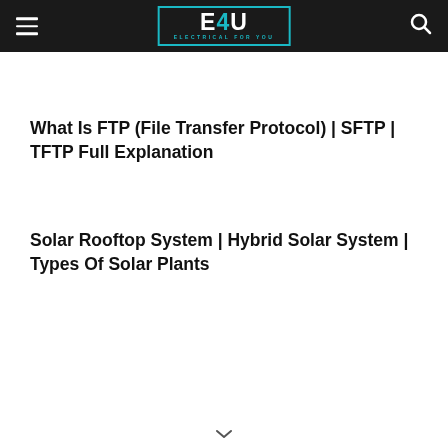E4U ELECTRICAL FOR YOU
What Is FTP (File Transfer Protocol) | SFTP | TFTP Full Explanation
Solar Rooftop System | Hybrid Solar System | Types Of Solar Plants